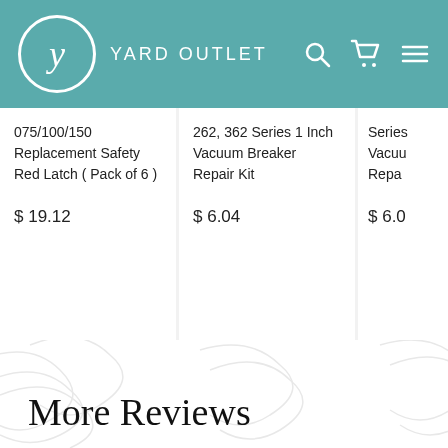YARD OUTLET
075/100/150 Replacement Safety Red Latch ( Pack of 6 )
$ 19.12
262, 362 Series 1 Inch Vacuum Breaker Repair Kit
$ 6.04
Series Vacuum Repa
$ 6.0
More Reviews